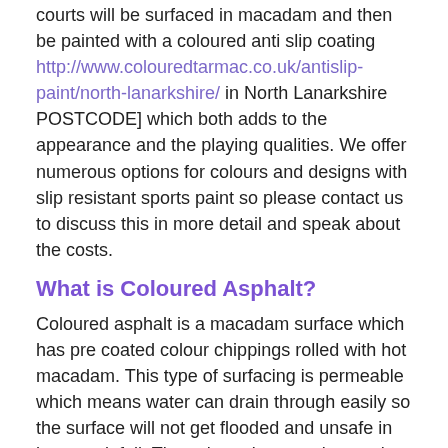courts will be surfaced in macadam and then be painted with a coloured anti slip coating http://www.colouredtarmac.co.uk/antislip-paint/north-lanarkshire/ in North Lanarkshire POSTCODE] which both adds to the appearance and the playing qualities. We offer numerous options for colours and designs with slip resistant sports paint so please contact us to discuss this in more detail and speak about the costs.
What is Coloured Asphalt?
Coloured asphalt is a macadam surface which has pre coated colour chippings rolled with hot macadam. This type of surfacing is permeable which means water can drain through easily so the surface will not get flooded and unsafe in heavy rainfall. The colour pigmented macadam is a decorative surface type which may be used for many different facilities with very little maintenance needed.
Another name for the coloured surfacing is tinted tarmacadam, and this specification can often be utilised for driveways, children's playgrounds http://www.colouredtarmacadam.co.uk/tarmac-playground/north-lanarkshire/ and minor roads around housing